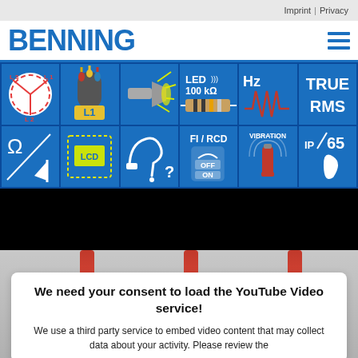Imprint | Privacy
BENNING
[Figure (infographic): BENNING product feature icon grid: 2 rows x 6 columns of blue tiles showing: three-phase symbol (L1/L2/L3), cable/wire bundle with L1 label, LED flashlight, LED 100kΩ resistor, Hz frequency waveform, TRUE RMS text; second row: Ohm/diode symbol, LCD display, cable with question mark, FI/RCD OFF/ON switch, VIBRATION fire extinguisher, IP65 droplet]
[Figure (screenshot): Black video placeholder bar (YouTube video not loaded)]
[Figure (photo): Partial product photo showing red test probe tips on grey background]
We need your consent to load the YouTube Video service!
We use a third party service to embed video content that may collect data about your activity. Please review the